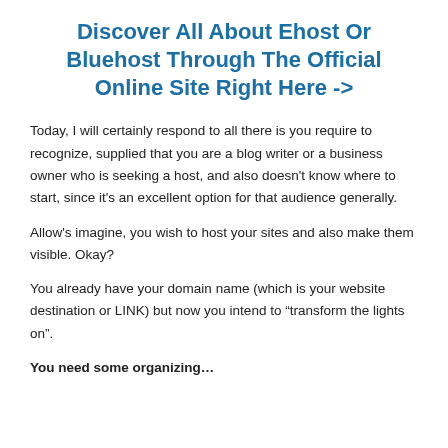Discover All About Ehost Or Bluehost Through The Official Online Site Right Here ->
Today, I will certainly respond to all there is you require to recognize, supplied that you are a blog writer or a business owner who is seeking a host, and also doesn't know where to start, since it's an excellent option for that audience generally.
Allow's imagine, you wish to host your sites and also make them visible. Okay?
You already have your domain name (which is your website destination or LINK) but now you intend to “transform the lights on”.
You need some organizing…